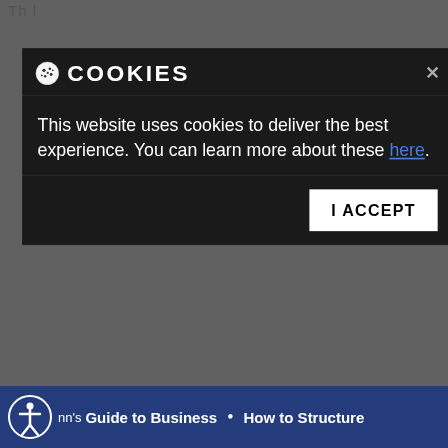Th...
[Figure (screenshot): Cookie consent modal dialog with dark background. Header shows cookie icon and 'COOKIES' title with close X button. Body text reads: 'This website uses cookies to deliver the best experience. You can learn more about these here.' Footer has 'I ACCEPT' button.]
you are creating. For example, if you are a business that is trying to sell products, then you want to post every few days. If you are a business that is more about information, then once a week might be best.
nn's Guide to Business • How to Structure